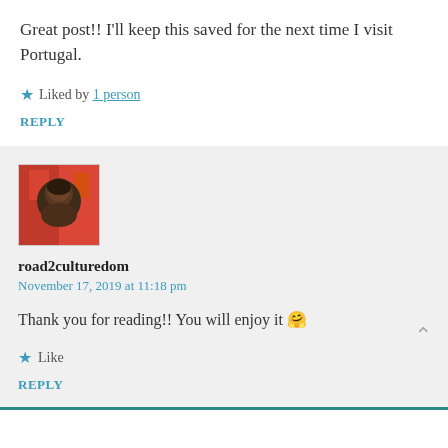Great post!! I'll keep this saved for the next time I visit Portugal.
★ Liked by 1 person
REPLY
[Figure (photo): Avatar photo of road2culturedom, showing a person with colorful background]
road2culturedom
November 17, 2019 at 11:18 pm
Thank you for reading!! You will enjoy it 🤗
★ Like
REPLY